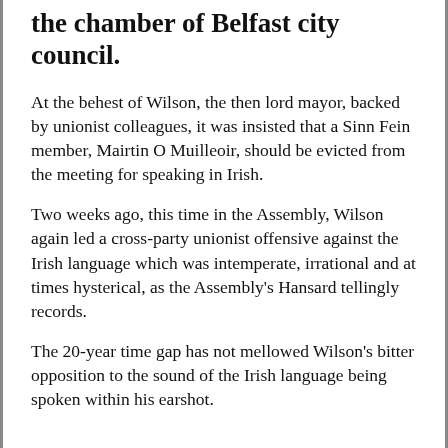the chamber of Belfast city council.
At the behest of Wilson, the then lord mayor, backed by unionist colleagues, it was insisted that a Sinn Fein member, Mairtin O Muilleoir, should be evicted from the meeting for speaking in Irish.
Two weeks ago, this time in the Assembly, Wilson again led a cross-party unionist offensive against the Irish language which was intemperate, irrational and at times hysterical, as the Assembly's Hansard tellingly records.
The 20-year time gap has not mellowed Wilson's bitter opposition to the sound of the Irish language being spoken within his earshot.